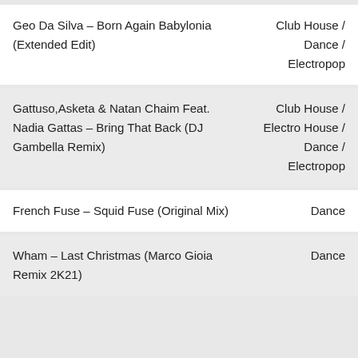| Track | Genre |
| --- | --- |
| Geo Da Silva – Born Again Babylonia (Extended Edit) | Club House / Dance / Electropop |
| Gattuso,Asketa & Natan Chaim Feat. Nadia Gattas – Bring That Back (DJ Gambella Remix) | Club House / Electro House / Dance / Electropop |
| French Fuse – Squid Fuse (Original Mix) | Dance |
| Wham – Last Christmas (Marco Gioia Remix 2K21) | Dance |